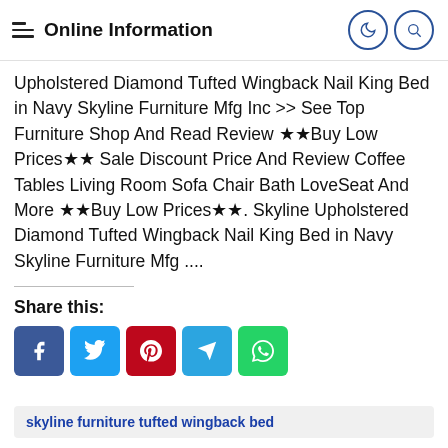Online Information
Upholstered Diamond Tufted Wingback Nail King Bed in Navy Skyline Furniture Mfg Inc >> See Top Furniture Shop And Read Review ★★Buy Low Prices★★ Sale Discount Price And Review Coffee Tables Living Room Sofa Chair Bath LoveSeat And More ★★Buy Low Prices★★. Skyline Upholstered Diamond Tufted Wingback Nail King Bed in Navy Skyline Furniture Mfg ....
Share this:
[Figure (infographic): Social share buttons: Facebook (blue), Twitter (light blue), Pinterest (red), Telegram (blue), WhatsApp (green)]
skyline furniture tufted wingback bed